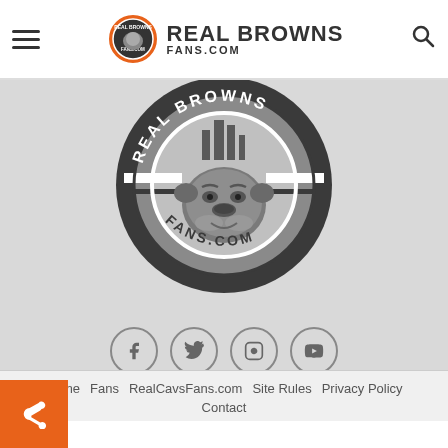REAL BROWNS FANS.COM
[Figure (logo): Real Browns Fans.com circular logo featuring a bulldog mascot with city skyline silhouette, striped banner, dark background with grey tones]
[Figure (infographic): Social media icons row: Facebook, Twitter, Instagram, YouTube — circular outlined buttons]
Home  Fans  RealCavsFans.com  Site Rules  Privacy Policy  Contact